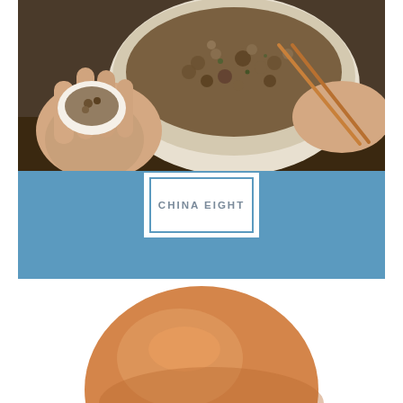[Figure (photo): Overhead close-up of hands filling a dumpling wrapper with meat filling from a white bowl, with chopsticks mixing the filling in the background]
CHINA EIGHT
[Figure (photo): Close-up top view of a round orange/brown steamed bun or bread roll on a white background]